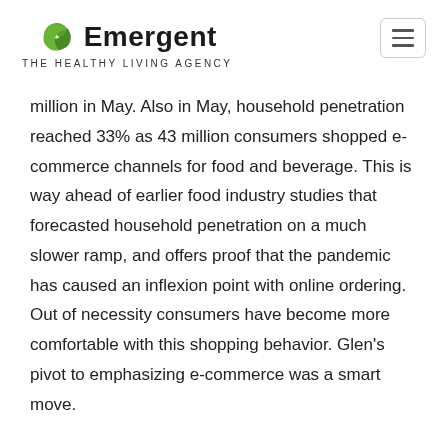Emergent THE HEALTHY LIVING AGENCY
million in May. Also in May, household penetration reached 33% as 43 million consumers shopped e-commerce channels for food and beverage. This is way ahead of earlier food industry studies that forecasted household penetration on a much slower ramp, and offers proof that the pandemic has caused an inflexion point with online ordering. Out of necessity consumers have become more comfortable with this shopping behavior. Glen’s pivot to emphasizing e-commerce was a smart move.